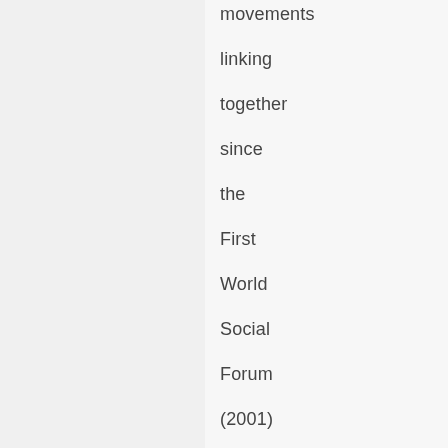movements linking together since the First World Social Forum (2001) have discussed and assumed the challenge to build a sustainable model of society